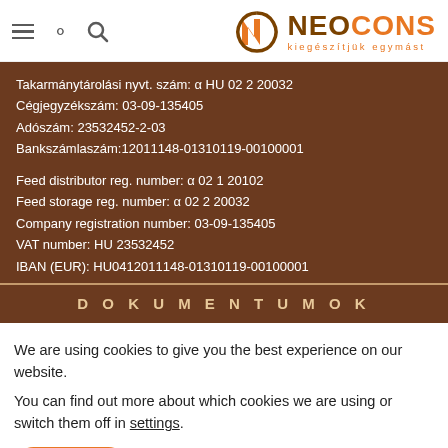[Figure (logo): NEOCONS logo with orange N icon and tagline 'kiegészítjük egymást']
Takarmánytárolási nyvt. szám: α HU 02 2 20032
Cégjegyzékszám: 03-09-135405
Adószám: 23532452-2-03
Bankszámlaszám:12011148-01310119-00100001

Feed distributor reg. number: α 02 1 20102
Feed storage reg. number: α 02 2 20032
Company registration number: 03-09-135405
VAT number: HU 23532452
IBAN (EUR): HU0412011148-01310119-00100001
DOKUMENTUMOK
We are using cookies to give you the best experience on our website.
You can find out more about which cookies we are using or switch them off in settings.
Accept